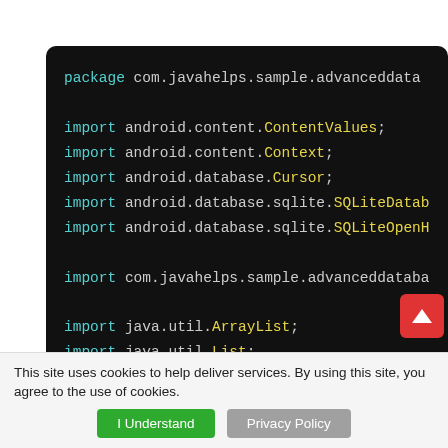[Figure (screenshot): Dark-themed code editor screenshot showing Java import statements and beginning of DatabaseAccess class with SQLiteOpenHelper, SQLiteDatabase, and DatabaseAccess fields.]
This site uses cookies to help deliver services. By using this site, you agree to the use of cookies. | I Understand | Privacy Policy